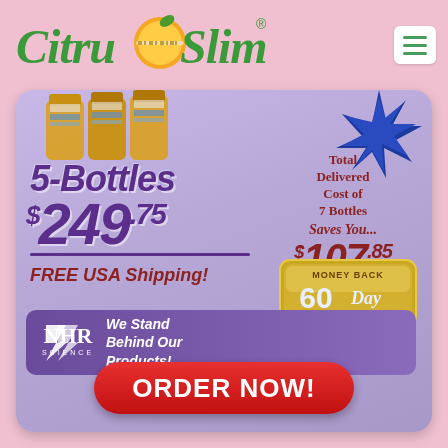[Figure (logo): CitruSlim logo with orange fruit graphic and green serif text]
[Figure (infographic): Product advertisement showing 5 bottles of CitruSlim for $249.75 total delivered cost of 7 bottles saves you $107.85, FREE USA Shipping, NHR Science logo, 60 Day Money Back Guarantee badge]
5-Bottles
$249.75
Total Delivered Cost of 7 Bottles Saves You... $107.85
FREE USA Shipping!
MONEY BACK 60 Day GUARANTEE
NHR SCIENCE We Stand Behind Our Products!
ORDER NOW!